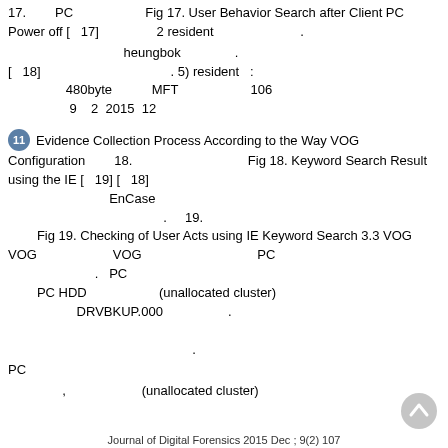17.        PC                    Fig 17. User Behavior Search after Client PC Power off [   17]                  2 resident                              .
heungbok                          . [   18]                                          . 5) resident   :                        480byte          MFT                        106            9    2  2015  12
11  Evidence Collection Process According to the Way VOG Configuration       18.                              Fig 18. Keyword Search Result using the IE [   19] [   18]                        EnCase                              .   19.       Fig 19. Checking of User Acts using IE Keyword Search 3.3 VOG VOG                      VOG                              PC                  .  PC         PC HDD                      (unallocated cluster)                   DRVBKUP.000                    .                             .
PC
,                     (unallocated cluster)
Journal of Digital Forensics 2015 Dec ; 9(2) 107